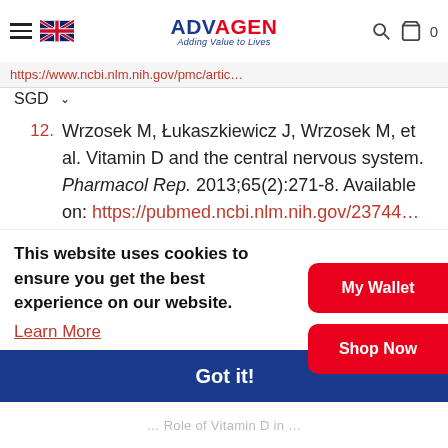ADVAGEN – Adding Value to Lives
https://www.ncbi.nlm.nih.gov/pmc/artic…
SGD
12. Wrzosek M, Łukaszkiewicz J, Wrzosek M, et al. Vitamin D and the central nervous system. Pharmacol Rep. 2013;65(2):271-8. Available on: https://pubmed.ncbi.nlm.nih.gov/23744…
13. National Institute of Health…
This website uses cookies to ensure you get the best experience on our website. Learn More
My Wallet
Shop Now
Got it!
…Role of Vitamin D in…